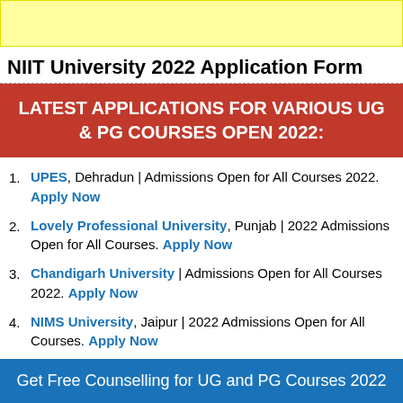[Figure (other): Yellow banner at top of page]
NIIT University 2022 Application Form
LATEST APPLICATIONS FOR VARIOUS UG & PG COURSES OPEN 2022:
UPES, Dehradun | Admissions Open for All Courses 2022. Apply Now
Lovely Professional University, Punjab | 2022 Admissions Open for All Courses. Apply Now
Chandigarh University | Admissions Open for All Courses 2022. Apply Now
NIMS University, Jaipur | 2022 Admissions Open for All Courses. Apply Now
Get Free Counselling for UG and PG Courses 2022